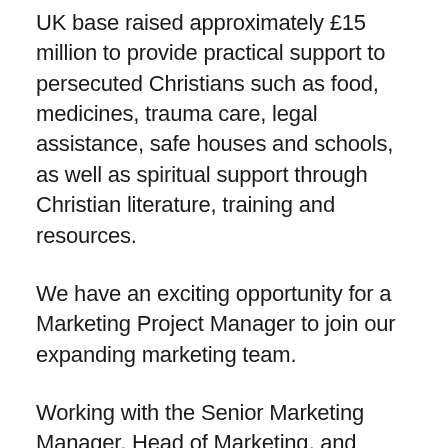UK base raised approximately £15 million to provide practical support to persecuted Christians such as food, medicines, trauma care, legal assistance, safe houses and schools, as well as spiritual support through Christian literature, training and resources.
We have an exciting opportunity for a Marketing Project Manager to join our expanding marketing team.
Working with the Senior Marketing Manager, Head of Marketing, and wider Marketing team, you will deliver a wide range of marketing project. You will need to identify and track any